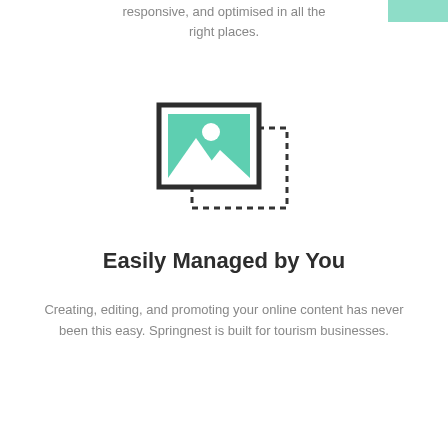responsive, and optimised in all the right places.
[Figure (illustration): Icon showing a framed image/photo with a landscape (mountains and sun) inside, overlapping a dashed-border square, representing content management or image editing.]
Easily Managed by You
Creating, editing, and promoting your online content has never been this easy. Springnest is built for tourism businesses.